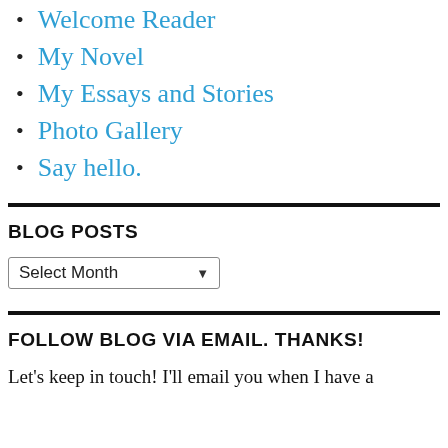Welcome Reader
My Novel
My Essays and Stories
Photo Gallery
Say hello.
BLOG POSTS
Select Month
FOLLOW BLOG VIA EMAIL. THANKS!
Let's keep in touch! I'll email you when I have a